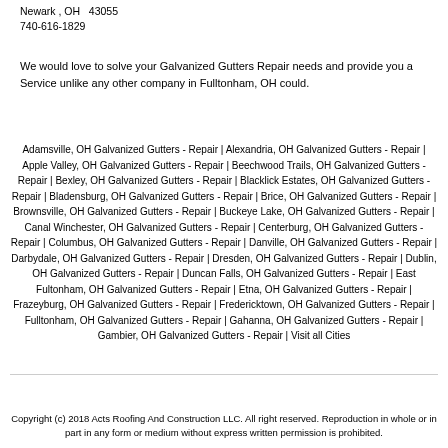Newark , OH  43055
740-616-1829
We would love to solve your Galvanized Gutters Repair needs and provide you a Service unlike any other company in Fulltonham, OH could.
Adamsville, OH Galvanized Gutters - Repair | Alexandria, OH Galvanized Gutters - Repair | Apple Valley, OH Galvanized Gutters - Repair | Beechwood Trails, OH Galvanized Gutters - Repair | Bexley, OH Galvanized Gutters - Repair | Blacklick Estates, OH Galvanized Gutters - Repair | Bladensburg, OH Galvanized Gutters - Repair | Brice, OH Galvanized Gutters - Repair | Brownsville, OH Galvanized Gutters - Repair | Buckeye Lake, OH Galvanized Gutters - Repair | Canal Winchester, OH Galvanized Gutters - Repair | Centerburg, OH Galvanized Gutters - Repair | Columbus, OH Galvanized Gutters - Repair | Danville, OH Galvanized Gutters - Repair | Darbydale, OH Galvanized Gutters - Repair | Dresden, OH Galvanized Gutters - Repair | Dublin, OH Galvanized Gutters - Repair | Duncan Falls, OH Galvanized Gutters - Repair | East Fultonham, OH Galvanized Gutters - Repair | Etna, OH Galvanized Gutters - Repair | Frazeyburg, OH Galvanized Gutters - Repair | Fredericktown, OH Galvanized Gutters - Repair | Fulltonham, OH Galvanized Gutters - Repair | Gahanna, OH Galvanized Gutters - Repair | Gambier, OH Galvanized Gutters - Repair | Visit all Cities
Copyright (c) 2018 Acts Roofing And Construction LLC. All right reserved. Reproduction in whole or in part in any form or medium without express written permission is prohibited.